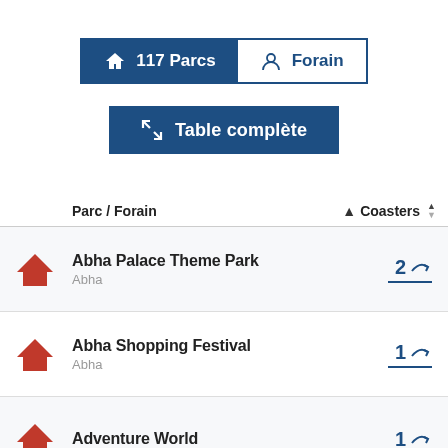[Figure (screenshot): Navigation tabs: '117 Parcs' (dark blue, with house icon) and 'Forain' (white, with person icon)]
[Figure (screenshot): Button: 'Table complète' with expand/fullscreen arrows icon on dark blue background]
| Parc / Forain | Coasters |
| --- | --- |
| Abha Palace Theme Park
Abha | 2 |
| Abha Shopping Festival
Abha | 1 |
| Adventure World
 | 1 |